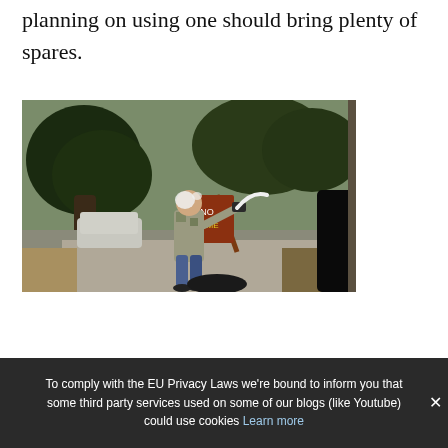planning on using one should bring plenty of spares.
[Figure (photo): Outdoor scene: a person in jeans and camouflage top appears to be struck or splashed with a white substance on a sidewalk near a large tree and a wooden sign stand. Another dark-clothed figure is partially visible at right. Cars and trees visible in the background.]
To comply with the EU Privacy Laws we're bound to inform you that some third party services used on some of our blogs (like Youtube) could use cookies Learn more ×